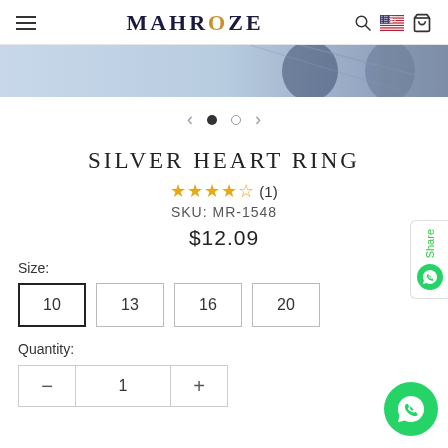MAHROZE
[Figure (photo): Partial product image strip showing a jewelry item against a light blue background]
[Figure (other): Carousel navigation with left arrow, filled dot, empty dot, right arrow]
SILVER HEART RING
★★★★☆ (1)
SKU: MR-1548
$12.09
Size:
10  13  16  20
Quantity:
− 1 +